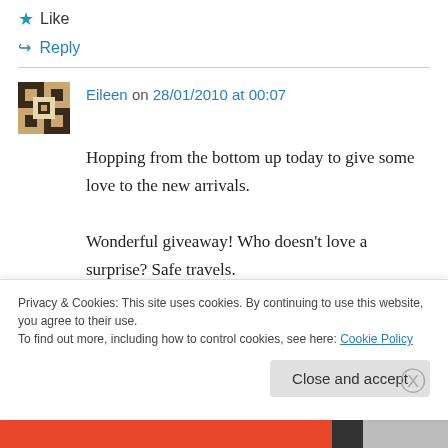★ Like
↪ Reply
Eileen on 28/01/2010 at 00:07
Hopping from the bottom up today to give some love to the new arrivals. Wonderful giveaway! Who doesn't love a surprise? Safe travels. Eileen eyeleeeen at optonline dot net
Privacy & Cookies: This site uses cookies. By continuing to use this website, you agree to their use. To find out more, including how to control cookies, see here: Cookie Policy
Close and accept